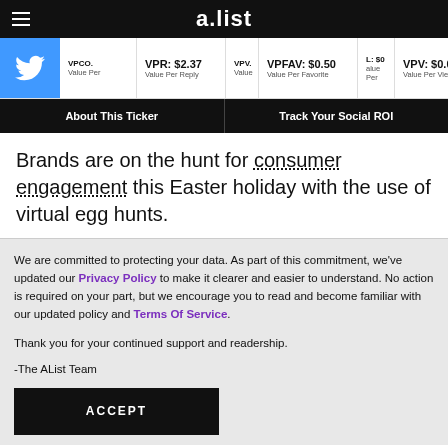a.list
VPR: $2.37 Value Per Reply | VPFAV: $0.50 Value Per Favorite | VPV: $0.09 Value Per View
About This Ticker | Track Your Social ROI
Brands are on the hunt for consumer engagement this Easter holiday with the use of virtual egg hunts.
We are committed to protecting your data. As part of this commitment, we've updated our Privacy Policy to make it clearer and easier to understand. No action is required on your part, but we encourage you to read and become familiar with our updated policy and Terms Of Service.

Thank you for your continued support and readership.

-The AList Team
ACCEPT